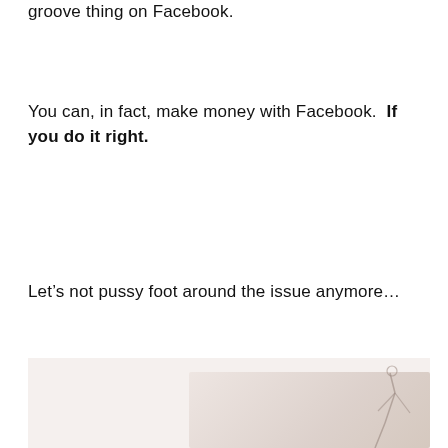groove thing on Facebook.
You can, in fact, make money with Facebook.  If you do it right.
Let’s not pussy foot around the issue anymore…
[Figure (photo): A faint, light-toned photograph with a figure visible in the lower right area, appearing to show a person, against a cream/off-white background.]